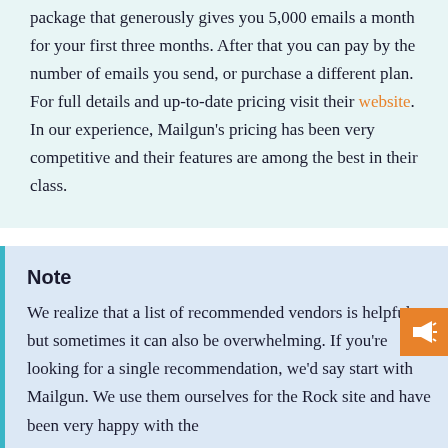package that generously gives you 5,000 emails a month for your first three months. After that you can pay by the number of emails you send, or purchase a different plan. For full details and up-to-date pricing visit their website. In our experience, Mailgun's pricing has been very competitive and their features are among the best in their class.
Note
We realize that a list of recommended vendors is helpful, but sometimes it can also be overwhelming. If you're looking for a single recommendation, we'd say start with Mailgun. We use them ourselves for the Rock site and have been very happy with the